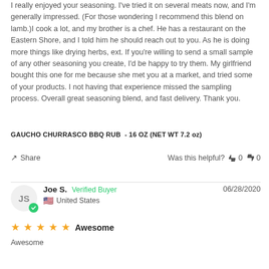I really enjoyed your seasoning. I've tried it on several meats now, and I'm generally impressed. (For those wondering I recommend this blend on lamb.)I cook a lot, and my brother is a chef. He has a restaurant on the Eastern Shore, and I told him he should reach out to you. As he is doing more things like drying herbs, ext. If you're willing to send a small sample of any other seasoning you create, I'd be happy to try them. My girlfriend bought this one for me because she met you at a market, and tried some of your products. I not having that experience missed the sampling process. Overall great seasoning blend, and fast delivery. Thank you.
GAUCHO CHURRASCO BBQ RUB  - 16 OZ (NET WT 7.2 oz)
Share   Was this helpful?  👍 0  👎 0
Joe S.  Verified Buyer   06/28/2020   United States
★★★★★  Awesome
Awesome